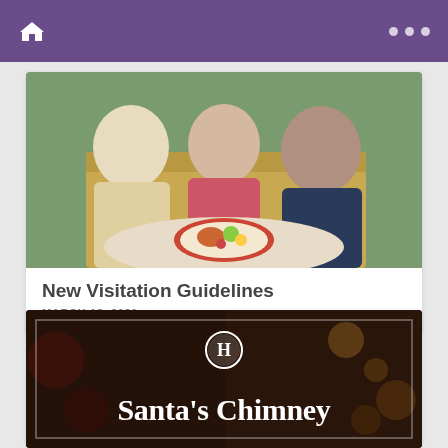Navigation bar with home icon and menu dots
[Figure (photo): Three people sitting together at a table outdoors, smiling. A woman in a pink top is in the center, flanked by two men. A colorful plate of food is on the table.]
New Visitation Guidelines
MARCH 18, 2021
[Figure (photo): Dark festive background with a circular H logo at top center and large white serif text reading Santa's Chimney]